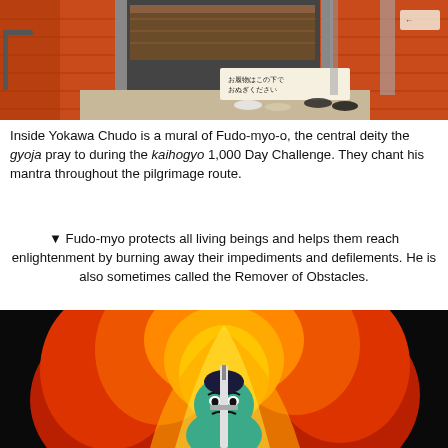[Figure (photo): Exterior entrance of Yokawa Chudo temple with bright orange-red wooden walls, a sign in Japanese characters, and shoes placed near the entrance steps.]
Inside Yokawa Chudo is a mural of Fudo-myo-o, the central deity the gyoja pray to during the kaihogyo 1,000 Day Challenge. They chant his mantra throughout the pilgrimage route.
▼ Fudo-myo protects all living beings and helps them reach enlightenment by burning away their impediments and defilements. He is also sometimes called the Remover of Obstacles.
[Figure (photo): Mural painting of Fudo-myo-o deity depicted with teal/green skin, fierce expression, surrounded by large swirling red and orange flames, holding a sword, on a dark background.]